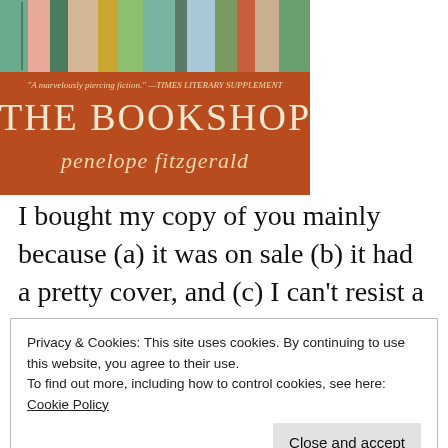[Figure (illustration): Book cover of 'The Bookshop' by Penelope Fitzgerald. Brown/rust background with illustrated colorful book spines at the top, italic script title text and author name, quote reading 'A marvelously piercing fiction.' - Times Literary Supplement]
I bought my copy of you mainly because (a) it was on sale (b) it had a pretty cover, and (c) I can't resist a book about books. I distinctly
Privacy & Cookies: This site uses cookies. By continuing to use this website, you agree to their use.
To find out more, including how to control cookies, see here: Cookie Policy
this novel, I felt very alone. I was living in a new